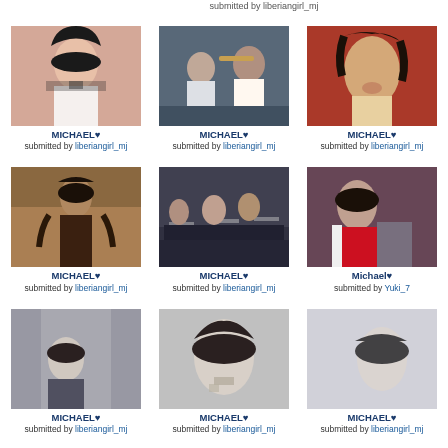submitted by liberiangirl_mj
[Figure (photo): Michael Jackson portrait in white shirt with black sash, pink toned photo]
MICHAEL♥
submitted by liberiangirl_mj
[Figure (photo): Two people seated at event, man in cowboy hat]
MICHAEL♥
submitted by liberiangirl_mj
[Figure (photo): Michael Jackson with long dark hair, red/orange background, mouth open]
MICHAEL♥
submitted by liberiangirl_mj
[Figure (photo): Michael Jackson standing in desert landscape, floral shirt]
MICHAEL♥
submitted by liberiangirl_mj
[Figure (photo): Group of men seated at conference table event]
MICHAEL♥
submitted by liberiangirl_mj
[Figure (photo): Michael Jackson performing, red and white outfit, stage]
Michael♥
submitted by Yuki_7
[Figure (photo): Black and white photo of Michael Jackson in profile, indoor setting]
MICHAEL♥
submitted by liberiangirl_mj
[Figure (photo): Black and white close-up of Michael Jackson with hand near face]
MICHAEL♥
submitted by liberiangirl_mj
[Figure (photo): Black and white profile shot of Michael Jackson outdoors]
MICHAEL♥
submitted by liberiangirl_mj